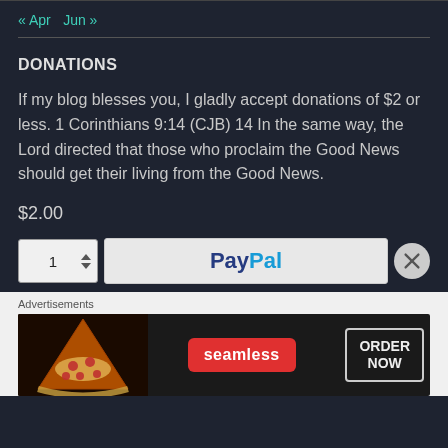« Apr   Jun »
DONATIONS
If my blog blesses you, I gladly accept donations of $2 or less. 1 Corinthians 9:14 (CJB) 14 In the same way, the Lord directed that those who proclaim the Good News should get their living from the Good News.
$2.00
[Figure (screenshot): Payment widget with quantity spinner showing 1 and PayPal button, with close X button]
Advertisements
[Figure (screenshot): Seamless advertisement banner with pizza image, seamless badge in red, and ORDER NOW button]